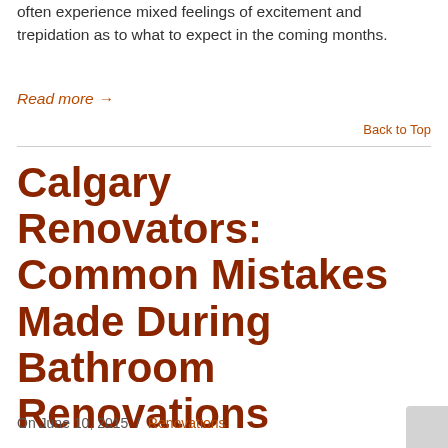often experience mixed feelings of excitement and trepidation as to what to expect in the coming months.
Read more →
Back to Top
Calgary Renovators: Common Mistakes Made During Bathroom Renovations
On June 10, 2015  /  Renovations